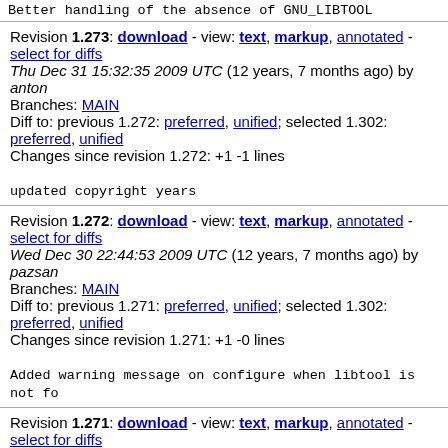Better handling of the absence of GNU_LIBTOOL
Revision 1.273: download - view: text, markup, annotated - select for diffs
Thu Dec 31 15:32:35 2009 UTC (12 years, 7 months ago) by anton
Branches: MAIN
Diff to: previous 1.272: preferred, unified; selected 1.302: preferred, unified
Changes since revision 1.272: +1 -1 lines
updated copyright years
Revision 1.272: download - view: text, markup, annotated - select for diffs
Wed Dec 30 22:44:53 2009 UTC (12 years, 7 months ago) by pazsan
Branches: MAIN
Diff to: previous 1.271: preferred, unified; selected 1.302: preferred, unified
Changes since revision 1.271: +1 -0 lines
Added warning message on configure when libtool is not fo
Revision 1.271: download - view: text, markup, annotated - select for diffs
Wed Oct 14 17:44:04 2009 UTC (12 years, 10 months ago) b